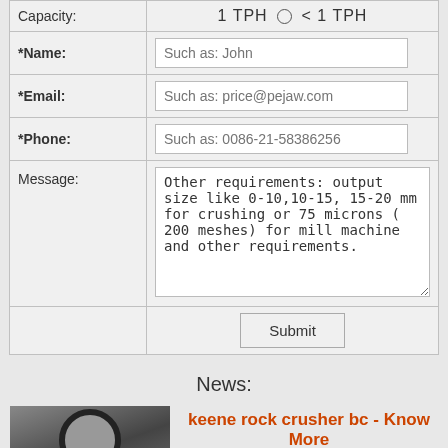| Field | Value |
| --- | --- |
| Capacity: | 1 TPH ○ < 1 TPH |
| *Name: | Such as: John |
| *Email: | Such as: price@pejaw.com |
| *Phone: | Such as: 0086-21-58386256 |
| Message: | Other requirements: output size like 0-10,10-15, 15-20 mm for crushing or 75 microns ( 200 meshes) for mill machine and other requirements. |
|  | Submit |
News:
[Figure (photo): Photo of a rock crusher component - circular stone with hole]
keene rock crusher bc - Know More